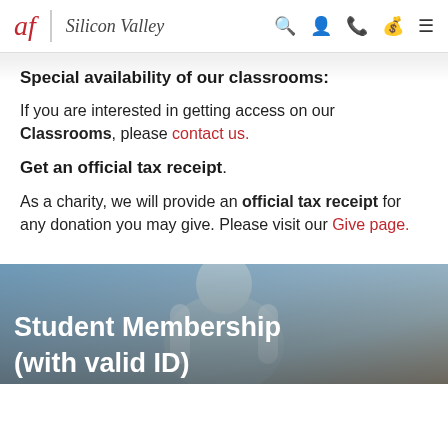af | Silicon Valley
Special availability of our classrooms:
If you are interested in getting access on our Classrooms, please contact us.
Get an official tax receipt.
As a charity, we will provide an official tax receipt for any donation you may give. Please visit our Give page.
[Figure (photo): Student wearing a denim jacket, with large white text overlay reading 'Student Membership (with valid ID)']